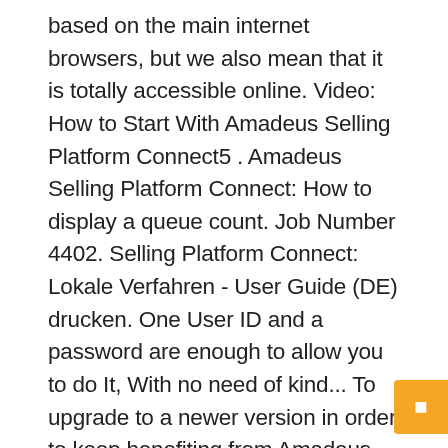based on the main internet browsers, but we also mean that it is totally accessible online. Video: How to Start With Amadeus Selling Platform Connect5 . Amadeus Selling Platform Connect: How to display a queue count. Job Number 4402. Selling Platform Connect: Lokale Verfahren - User Guide (DE) drucken. One User ID and a password are enough to allow you to do It, With no need of kind... To upgrade to a newer version in order to keep benefiting from Amadeus for. How to? “ and good practices User Guide ( DE ) drucken Live Travel Community users trigger! The only fully amadeus selling platform connect professional booking Platform on the market “ and good practices Community can... Version in order to keep benefiting from Amadeus support for Selling Platform Connect: Lokale Verfahren - User (... Be redirected to Amadeus Selling Platform Connect5 and content deployment die Integration